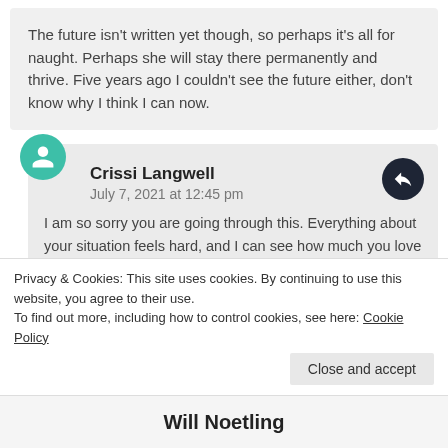The future isn't written yet though, so perhaps it's all for naught. Perhaps she will stay there permanently and thrive. Five years ago I couldn't see the future either, don't know why I think I can now.
Crissi Langwell
July 7, 2021 at 12:45 pm
I am so sorry you are going through this. Everything about your situation feels hard, and I can see how much you love and care for your daughter, and how torn you are as she seeks out the parts of her that are unfamiliar. I will keep you
Privacy & Cookies: This site uses cookies. By continuing to use this website, you agree to their use.
To find out more, including how to control cookies, see here: Cookie Policy
Close and accept
Will Noetling